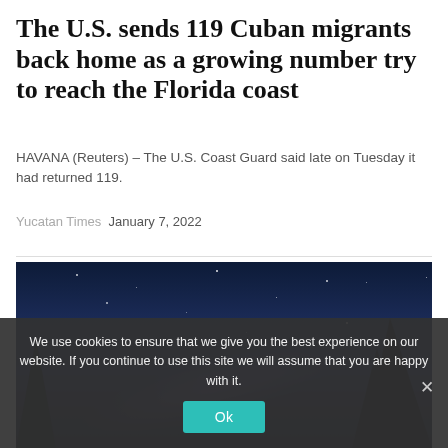The U.S. sends 119 Cuban migrants back home as a growing number try to reach the Florida coast
HAVANA (Reuters) – The U.S. Coast Guard said late on Tuesday it had returned 119.
Yucatan Times  January 7, 2022
[Figure (photo): Dark nighttime sky photograph with star-filled background, silhouetted trees on left and right edges, and a faint light streak in the lower portion of the image.]
We use cookies to ensure that we give you the best experience on our website. If you continue to use this site we will assume that you are happy with it.